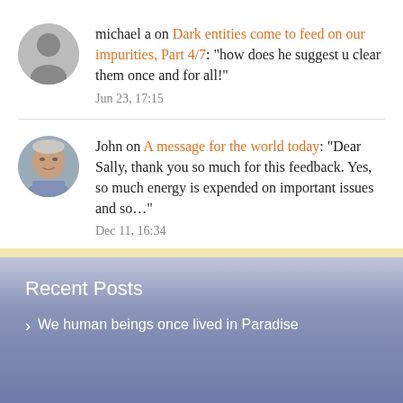michael a on Dark entities come to feed on our impurities, Part 4/7: "how does he suggest u clear them once and for all!"
Jun 23, 17:15
John on A message for the world today: "Dear Sally, thank you so much for this feedback. Yes, so much energy is expended on important issues and so…"
Dec 11, 16:34
Recent Posts
We human beings once lived in Paradise